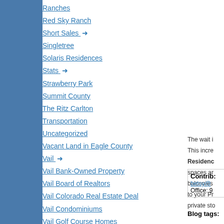Ranches
Red Sky Ranch
Short Sales →
Singletree
Solaris Residences
Stats →
Strawberry Park
Summit County
The Ritz Carlton
Transportation
Uncategorized
Vacant Land in Eagle County
Vail →
Vail Bank-Owned Property
Vail Board of Realtors
Vail Colorado Real Estate Deal
Vail Condominiums
Vail Golf Course Homes
Vail Home Auction
Vail Land
Vail Luxury Condominium
Vail Property
The wait i... This incre... Residenc... spaces an... balconies... to your Pr... private sto...
Contrib: betsy@ Office: 9...
Blog tags: